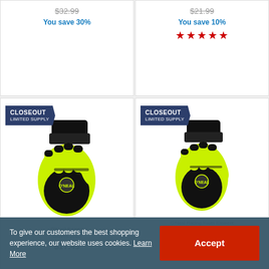$32.99 (strikethrough) You save 30%
$21.99 (strikethrough) You save 10%
★★★★★ (4 stars)
[Figure (photo): O'Neal Racing motocross glove in black and neon yellow, shown with CLOSEOUT LIMITED SUPPLY badge. Price: $17.49]
[Figure (photo): O'Neal Racing Youth Element motocross glove in black and neon yellow, shown with CLOSEOUT LIMITED SUPPLY badge. Price: $15.39]
To give our customers the best shopping experience, our website uses cookies. Learn More
Accept